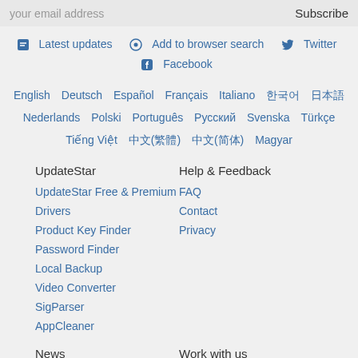your email address    Subscribe
Latest updates  Add to browser search  Twitter  Facebook
English  Deutsch  Español  Français  Italiano  한국어  日本語  Nederlands  Polski  Português  Русский  Svenska  Türkçe  Tiếng Việt  中文(繁體)  中文(简体)  Magyar
UpdateStar
UpdateStar Free & Premium
Drivers
Product Key Finder
Password Finder
Local Backup
Video Converter
SigParser
AppCleaner
Help & Feedback
FAQ
Contact
Privacy
News
Software News
Work with us
Partner